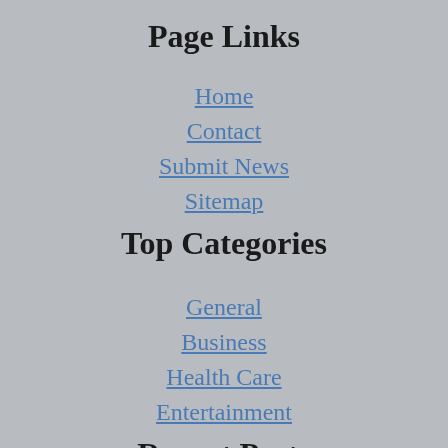Page Links
Home
Contact
Submit News
Sitemap
Top Categories
General
Business
Health Care
Entertainment
Recent Posts
KSrelief's mobile medical clinic provides services to